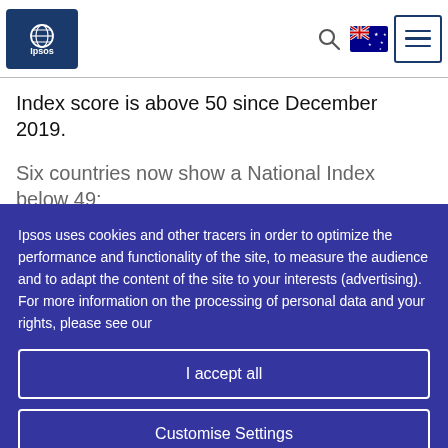Ipsos logo, search icon, Australian flag icon, menu icon
Index score is above 50 since December 2019.
Six countries now show a National Index below 49:
Ipsos uses cookies and other tracers in order to optimize the performance and functionality of the site, to measure the audience and to adapt the content of the site to your interests (advertising). For more information on the processing of personal data and your rights, please see our
I accept all
Customise Settings